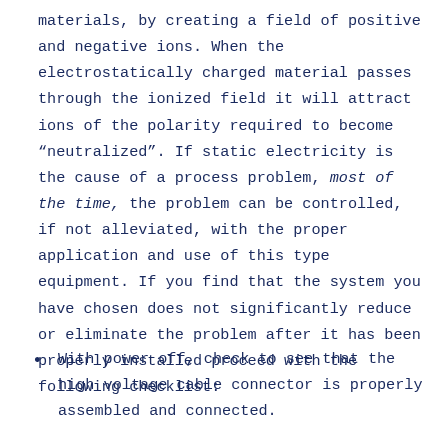materials, by creating a field of positive and negative ions. When the electrostatically charged material passes through the ionized field it will attract ions of the polarity required to become “neutralized”. If static electricity is the cause of a process problem, most of the time, the problem can be controlled, if not alleviated, with the proper application and use of this type equipment. If you find that the system you have chosen does not significantly reduce or eliminate the problem after it has been properly installed proceed with the following checklist:
With power off, check to see that the high voltage cable connector is properly assembled and connected.